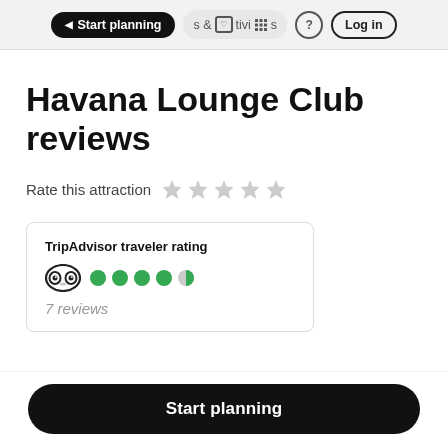Start planning   & Activities   ?   Log in
Havana Lounge Club reviews
Rate this attraction
TripAdvisor traveler rating
4.5 circles
7 reviews
Start planning